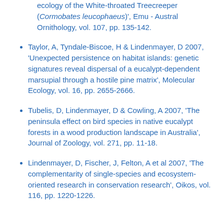ecology of the White-throated Treecreeper (Cormobates leucophaeus)', Emu - Austral Ornithology, vol. 107, pp. 135-142.
Taylor, A, Tyndale-Biscoe, H & Lindenmayer, D 2007, 'Unexpected persistence on habitat islands: genetic signatures reveal dispersal of a eucalypt-dependent marsupial through a hostile pine matrix', Molecular Ecology, vol. 16, pp. 2655-2666.
Tubelis, D, Lindenmayer, D & Cowling, A 2007, 'The peninsula effect on bird species in native eucalypt forests in a wood production landscape in Australia', Journal of Zoology, vol. 271, pp. 11-18.
Lindenmayer, D, Fischer, J, Felton, A et al 2007, 'The complementarity of single-species and ecosystem-oriented research in conservation research', Oikos, vol. 116, pp. 1220-1226.